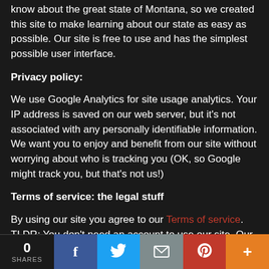know about the great state of Montana, so we created this site to make learning about our state as easy as possible. Our site is free to use and has the simplest possible user interface.
Privacy policy:
We use Google Analytics for site usage analytics. Your IP address is saved on our web server, but it's not associated with any personally identifiable information. We want you to enjoy and benefit from our site without worrying about who is tracking you (OK, so Google might track you, but that's not us!)
Terms of service: the legal stuff
By using our site you agree to our Terms of service. TLDR: You don't need an account to use our site. Our site is free of charge and you can use it as much as you want. You need an account if you wish to list your business or control your business information. You can't do illegal or shady things with a business listing on our site. We may block your access to your page if
0 SHARES | Facebook | Twitter | Email | Pinterest | More